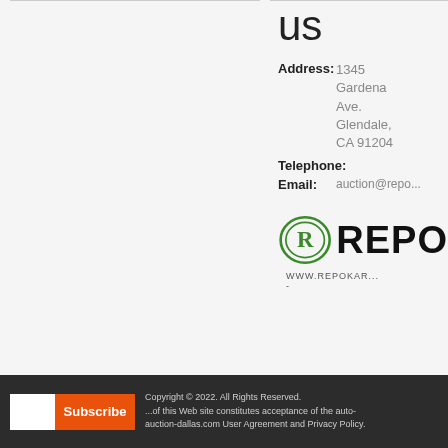us
Address: 1345 Gardena Ave. Glendale, CA 91204
Telephone:
Email: auction@repo...
[Figure (logo): REPOKA logo with circular R emblem and text REPOKA, WWW.REPOKAR...]
Copyright © 2022. All Rights Reserved. ...of this Web site constitutes acceptance of the auto-auction-dallas.com User Agreement and Privacy Policy.